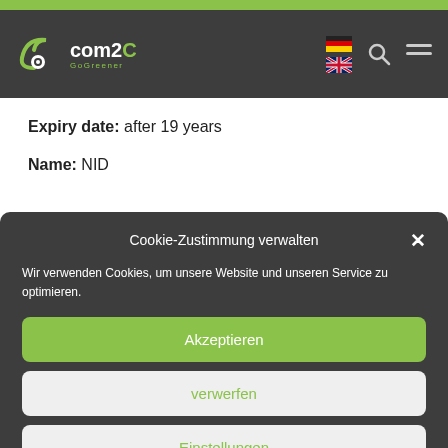[Figure (logo): com2C GoGreener logo with navigation icons (search, menu) and language flags (German, UK)]
Expiry date: after 19 years
Name: NID
Cookie-Zustimmung verwalten
Wir verwenden Cookies, um unsere Website und unseren Service zu optimieren.
Akzeptieren
verwerfen
Einstellungen
Cookie-Richtlinien  Privacy Policy  Legal